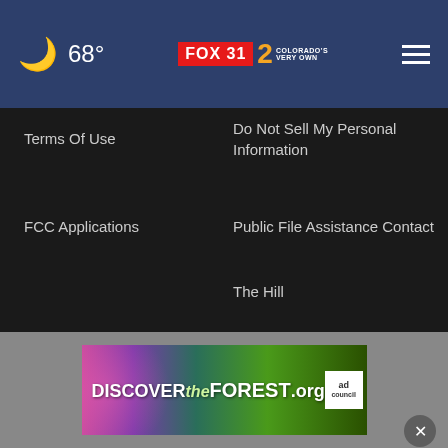68° FOX 31 2 COLORADO'S VERY OWN
Terms Of Use
Do Not Sell My Personal Information
FCC Applications
Public File Assistance Contact
The Hill
NewsNation
BestReviews
Content Licensing
Nexstar Digital
© 1998 - 2022 Nexstar Media Inc. | All Rights Reserved.
[Figure (photo): DISCOVERtheFOREST.org advertisement banner with ad council and US Forest Service logos]